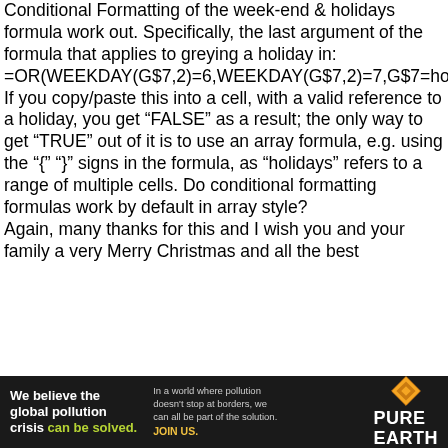Conditional Formatting of the week-end & holidays formula work out. Specifically, the last argument of the formula that applies to greying a holiday in: =OR(WEEKDAY(G$7,2)=6,WEEKDAY(G$7,2)=7,G$7=holidays). If you copy/paste this into a cell, with a valid reference to a holiday, you get “FALSE” as a result; the only way to get “TRUE” out of it is to use an array formula, e.g. using the “{” “}” signs in the formula, as “holidays” refers to a range of multiple cells. Do conditional formatting formulas work by default in array style? Again, many thanks for this and I wish you and your family a very Merry Christmas and all the best
[Figure (other): Advertisement banner for Pure Earth. Text reads: 'We believe the global pollution crisis can be solved. In a world where pollution doesn't stop at borders, we can all be part of the solution. JOIN US.' with Pure Earth logo.]